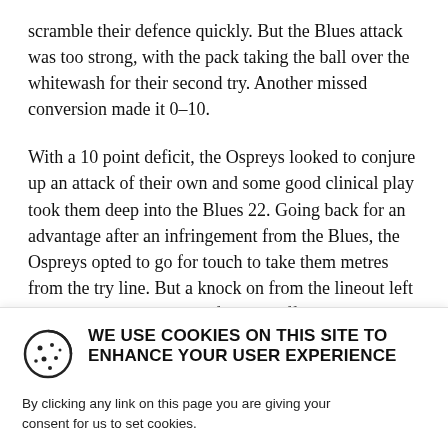scramble their defence quickly. But the Blues attack was too strong, with the pack taking the ball over the whitewash for their second try. Another missed conversion made it 0–10.
With a 10 point deficit, the Ospreys looked to conjure up an attack of their own and some good clinical play took them deep into the Blues 22. Going back for an advantage after an infringement from the Blues, the Ospreys opted to go for touch to take them metres from the try line. But a knock on from the lineout left the Ospreys with nothing for their efforts.
Not wanting to come away from a great attacking
[Figure (other): Cookie consent banner with cookie icon and heading: WE USE COOKIES ON THIS SITE TO ENHANCE YOUR USER EXPERIENCE. Body text: By clicking any link on this page you are giving your consent for us to set cookies.]